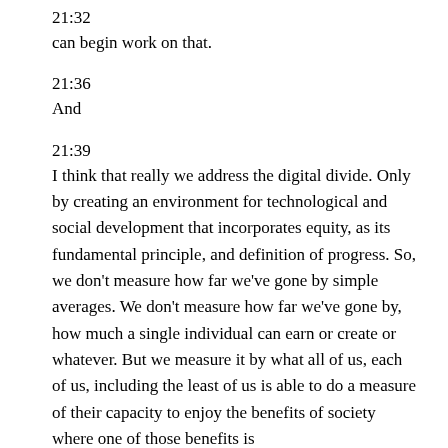21:32
can begin work on that.
21:36
And
21:39
I think that really we address the digital divide. Only by creating an environment for technological and social development that incorporates equity, as its fundamental principle, and definition of progress. So, we don't measure how far we've gone by simple averages. We don't measure how far we've gone by, how much a single individual can earn or create or whatever. But we measure it by what all of us, each of us, including the least of us is able to do a measure of their capacity to enjoy the benefits of society where one of those benefits is